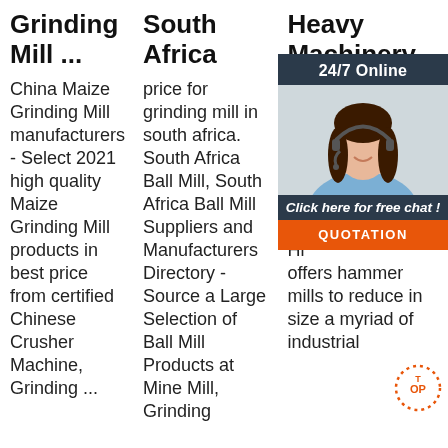Grinding Mill ...
China Maize Grinding Mill manufacturers - Select 2021 high quality Maize Grinding Mill products in best price from certified Chinese Crusher Machine, Grinding ...
South Africa
price for grinding mill in south africa. South Africa Ball Mill, South Africa Ball Mill Suppliers and Manufacturers Directory - Source a Large Selection of Ball Mill Products at Mine Mill, Grinding
Heavy Machinery
hippo grinding m... th... pr... fo... hu... ar... co... Hi... offers hammer mills to reduce in size a myriad of industrial
[Figure (other): Live chat widget overlay with '24/7 Online' header, photo of a woman with headset, 'Click here for free chat!' text, and orange QUOTATION button. Also includes a TOP badge with dotted circle in orange.]